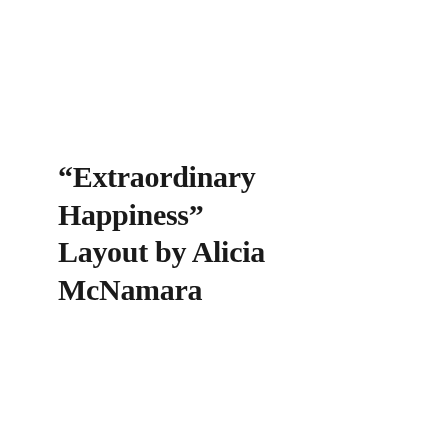“Extraordinary Happiness” Layout by Alicia McNamara